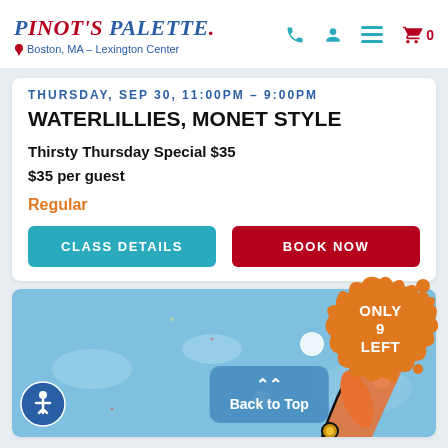Pinot's Palette — Boston, MA - Lexington Center
THURSDAY, SEP 30, 11:00PM – 9:00PM
WATERLILLIES, MONET STYLE
Thirsty Thursday Special $35
$35 per guest
Regular
CLASS DETAILS
BOOK NOW
[Figure (illustration): Illustration of a person painting with orange hat, blue water background, with orange paint splat badge reading ONLY 9 LEFT]
Back to Top